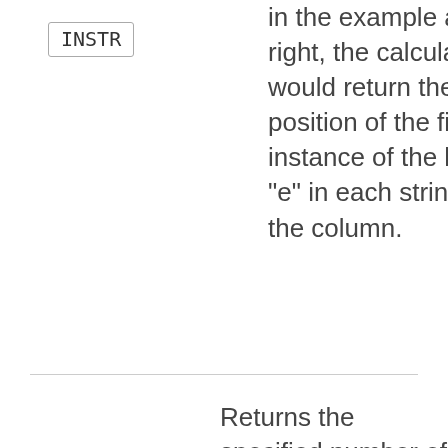INSTR
In the example at right, the calculation would return the position of the first instance of the letter "e" in each string in the column.
INSTR(`Group`,'e')
Returns the specified number of characters in